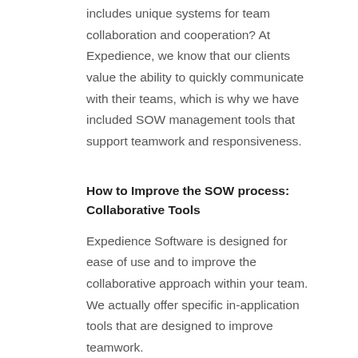includes unique systems for team collaboration and cooperation? At Expedience, we know that our clients value the ability to quickly communicate with their teams, which is why we have included SOW management tools that support teamwork and responsiveness.
How to Improve the SOW process: Collaborative Tools
Expedience Software is designed for ease of use and to improve the collaborative approach within your team. We actually offer specific in-application tools that are designed to improve teamwork.
Expedience's full integration with Microsoft Word allows the software to leverage existing